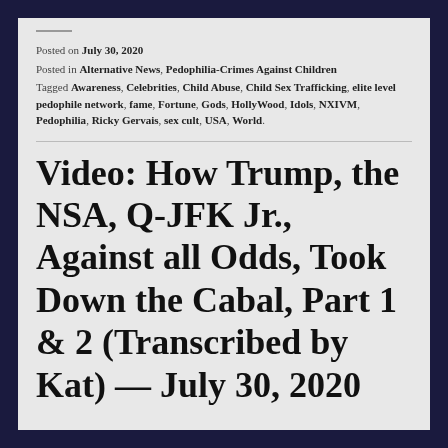Posted on July 30, 2020
Posted in Alternative News, Pedophilia-Crimes Against Children
Tagged Awareness, Celebrities, Child Abuse, Child Sex Trafficking, elite level pedophile network, fame, Fortune, Gods, HollyWood, Idols, NXIVM, Pedophilia, Ricky Gervais, sex cult, USA, World.
Video: How Trump, the NSA, Q-JFK Jr., Against all Odds, Took Down the Cabal, Part 1 & 2 (Transcribed by Kat) — July 30, 2020